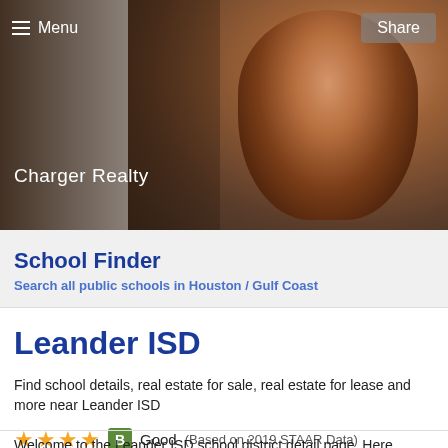Menu   Share
Charger Realty
School Finder
Search all public schools in Houston / Gulf Coast
Leander ISD
Find school details, real estate for sale, real estate for lease and more near Leander ISD
★★★★  B  Good  (Based on 2019 STAAR Data)
Welcome to the Leander ISD school district detail page. Here